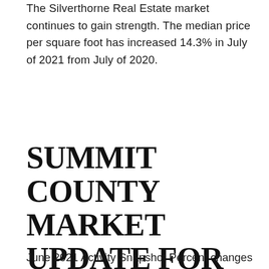The Silverthorne Real Estate market continues to gain strength. The median price per square foot has increased 14.3% in July of 2021 from July of 2020.
SUMMIT COUNTY MARKET UPDATE FOR JUNE OF 2021
June 2021 Activity Snapshot Percent changes